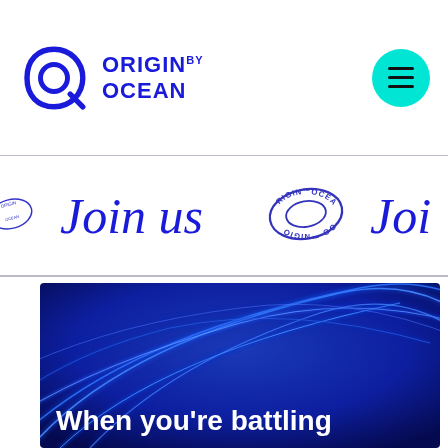[Figure (logo): Origin by Ocean logo with blue leaf/teardrop shape icon and blue text reading ORIGIN BY OCEAN]
[Figure (other): Cyan/turquoise circular hamburger menu button with three horizontal lines]
[Figure (infographic): Scrolling marquee banner on white background with blue italic text 'Join us' repeated, interspersed with circular Origin by Ocean stamp logos]
[Figure (photo): Dark blue background with glowing blue curved light streaks/fibers, hero image section with white text 'When you're battling' at the bottom]